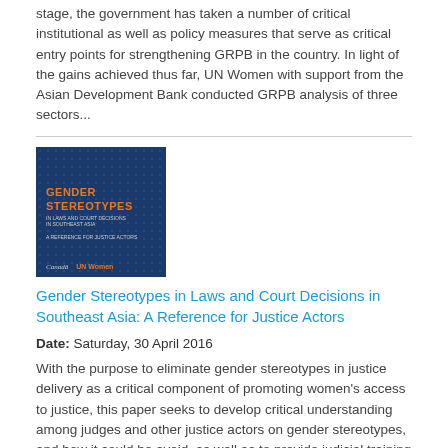stage, the government has taken a number of critical institutional as well as policy measures that serve as critical entry points for strengthening GRPB in the country. In light of the gains achieved thus far, UN Women with support from the Asian Development Bank conducted GRPB analysis of three sectors...
[Figure (illustration): Book cover for 'Gender Stereotypes in Laws and Court Decisions in Southeast Asia: A Reference for Justice Actors', dark blue background with dot pattern, orange title text, Canada and UN Women logos at bottom]
Gender Stereotypes in Laws and Court Decisions in Southeast Asia: A Reference for Justice Actors
Date: Saturday, 30 April 2016
With the purpose to eliminate gender stereotypes in justice delivery as a critical component of promoting women's access to justice, this paper seeks to develop critical understanding among judges and other justice actors on gender stereotypes, and how it could be avoid, as well as to provide judicial training programmes for justice actors in investigation and adjudication.